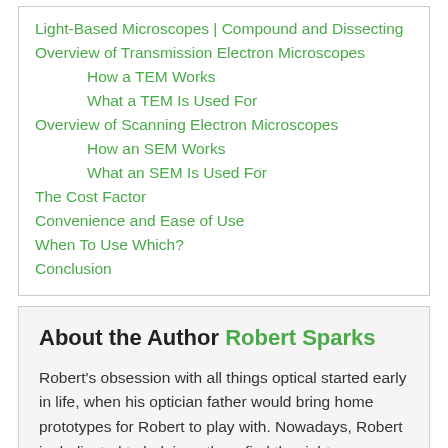Light-Based Microscopes | Compound and Dissecting
Overview of Transmission Electron Microscopes
How a TEM Works
What a TEM Is Used For
Overview of Scanning Electron Microscopes
How an SEM Works
What an SEM Is Used For
The Cost Factor
Convenience and Ease of Use
When To Use Which?
Conclusion
About the Author Robert Sparks
Robert's obsession with all things optical started early in life, when his optician father would bring home prototypes for Robert to play with. Nowadays, Robert is dedicated to helping others find the right